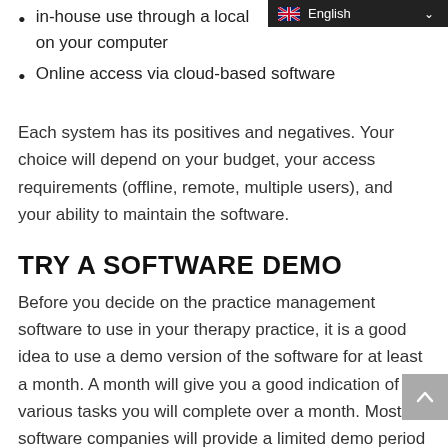in-house use through a local … on your computer
Online access via cloud-based software
Each system has its positives and negatives. Your choice will depend on your budget, your access requirements (offline, remote, multiple users), and your ability to maintain the software.
TRY A SOFTWARE DEMO
Before you decide on the practice management software to use in your therapy practice, it is a good idea to use a demo version of the software for at least a month. A month will give you a good indication of the various tasks you will complete over a month. Most software companies will provide a limited demo period between 7-30 days. It is a good idea to watch training videos prior to starting your demo so that you